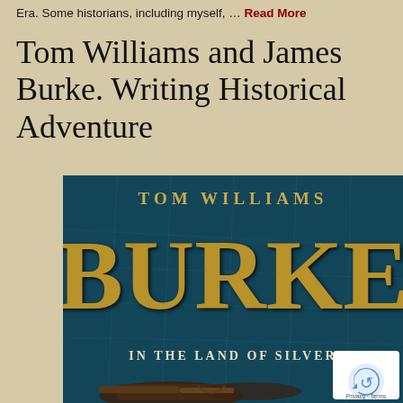Era. Some historians, including myself, … Read More
Tom Williams and James Burke. Writing Historical Adventure
[Figure (illustration): Book cover for 'Burke in the Land of Silver' by Tom Williams. Dark teal/blue background with antique map texture. 'TOM WILLIAMS' in gold letters at top, 'BURKE' in large gold letters in the center, 'IN THE LAND OF SILVER' in white/cream letters near the bottom. A pistol and other weapons/objects are visible at the bottom of the cover.]
Privacy · Terms